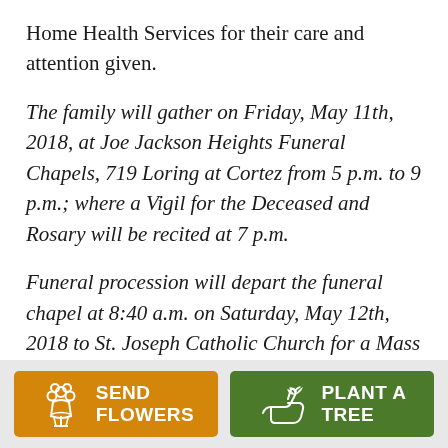Home Health Services for their care and attention given.
The family will gather on Friday, May 11th, 2018, at Joe Jackson Heights Funeral Chapels, 719 Loring at Cortez from 5 p.m. to 9 p.m.; where a Vigil for the Deceased and Rosary will be recited at 7 p.m.
Funeral procession will depart the funeral chapel at 8:40 a.m. on Saturday, May 12th, 2018 to St. Joseph Catholic Church for a Mass of Christian Burial at 9:00 a.m.
SEND FLOWERS | PLANT A TREE